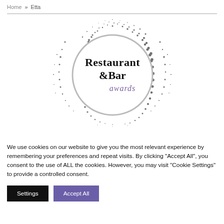Home » Etta
[Figure (logo): Restaurant & Bar awards logo — a circular badge with 'Restaurant &Bar awards' text in the center, surrounded by a decorative spray/scatter of dark dots forming a halo effect]
We use cookies on our website to give you the most relevant experience by remembering your preferences and repeat visits. By clicking "Accept All", you consent to the use of ALL the cookies. However, you may visit "Cookie Settings" to provide a controlled consent.
Settings
Accept All